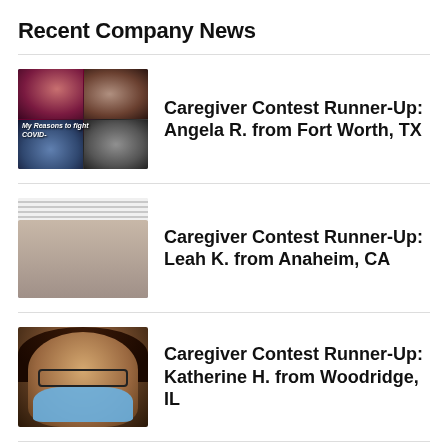Recent Company News
[Figure (photo): Collage of people wearing masks, dark background with grid layout, text overlay reading 'My Reasons to fight COVID-']
Caregiver Contest Runner-Up: Angela R. from Fort Worth, TX
[Figure (photo): Two women sitting on a sofa, both wearing face masks, window blinds visible in background]
Caregiver Contest Runner-Up: Leah K. from Anaheim, CA
[Figure (photo): Person with brown curly hair wearing glasses and a blue face mask, selfie photo]
Caregiver Contest Runner-Up: Katherine H. from Woodridge, IL